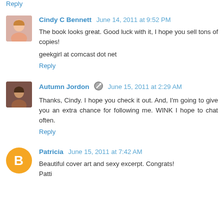Reply
Cindy C Bennett  June 14, 2011 at 9:52 PM
The book looks great. Good luck with it, I hope you sell tons of copies!

geekgirl at comcast dot net
Reply
Autumn Jordon  June 15, 2011 at 2:29 AM
Thanks, Cindy. I hope you check it out. And, I'm going to give you an extra chance for following me. WINK I hope to chat often.
Reply
Patricia  June 15, 2011 at 7:42 AM
Beautiful cover art and sexy excerpt. Congrats!
Patti